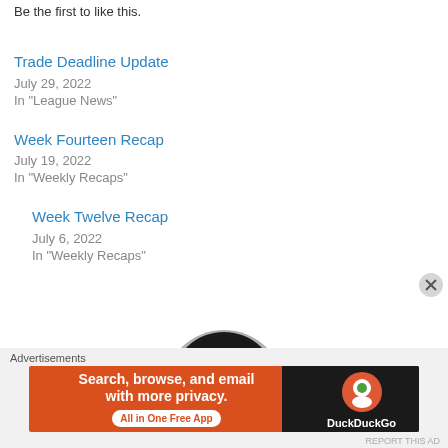Be the first to like this.
Trade Deadline Update
July 29, 2022
In "League News"
Week Twelve Recap
July 6, 2022
In "Weekly Recaps"
Week Fourteen Recap
July 19, 2022
In "Weekly Recaps"
[Figure (logo): Dark circular logo with a white stylized letter H or similar monogram]
Advertisements
[Figure (screenshot): DuckDuckGo advertisement banner: 'Search, browse, and email with more privacy. All in One Free App' with DuckDuckGo logo on the right]